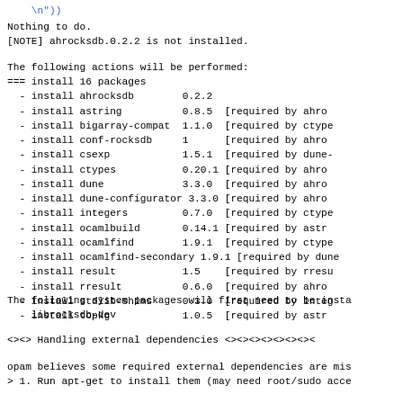\n"))
Nothing to do.
[NOTE] ahrocksdb.0.2.2 is not installed.
The following actions will be performed:
=== install 16 packages
  - install ahrocksdb        0.2.2
  - install astring          0.8.5  [required by ahro
  - install bigarray-compat  1.1.0  [required by ctype
  - install conf-rocksdb     1      [required by ahro
  - install csexp            1.5.1  [required by dune-
  - install ctypes           0.20.1 [required by ahro
  - install dune             3.3.0  [required by ahro
  - install dune-configurator 3.3.0 [required by ahro
  - install integers         0.7.0  [required by ctype
  - install ocamlbuild       0.14.1 [required by astr
  - install ocamlfind        1.9.1  [required by ctype
  - install ocamlfind-secondary 1.9.1 [required by dune
  - install result           1.5    [required by rresu
  - install rresult          0.6.0  [required by ahro
  - install stdlib-shims     0.3.0  [required by integ
  - install topkg            1.0.5  [required by astr
The following system packages will first need to be insta
    librocksdb-dev
<><> Handling external dependencies <><><><><><><><><
opam believes some required external dependencies are mis
> 1. Run apt-get to install them (may need root/sudo acce